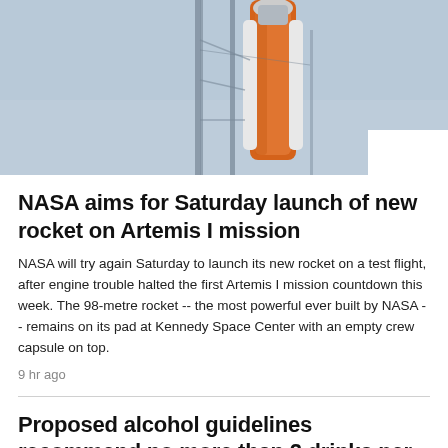[Figure (photo): Rocket on launch pad against a blue-grey sky, with orange fuel tank visible, on a launch structure. White rectangular tab in bottom-right corner.]
NASA aims for Saturday launch of new rocket on Artemis I mission
NASA will try again Saturday to launch its new rocket on a test flight, after engine trouble halted the first Artemis I mission countdown this week. The 98-metre rocket -- the most powerful ever built by NASA -- remains on its pad at Kennedy Space Center with an empty crew capsule on top.
9 hr ago
Proposed alcohol guidelines recommend no more than 2 drinks per week
11 hr ago